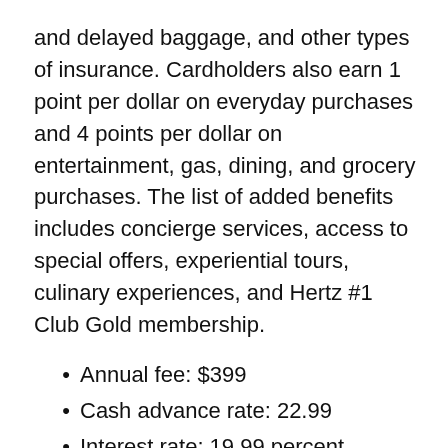and delayed baggage, and other types of insurance. Cardholders also earn 1 point per dollar on everyday purchases and 4 points per dollar on entertainment, gas, dining, and grocery purchases. The list of added benefits includes concierge services, access to special offers, experiential tours, culinary experiences, and Hertz #1 Club Gold membership.
Annual fee: $399
Cash advance rate: 22.99
Interest rate: 19.99 percent
Minimum credit limit: $10,000
DESJARDINS ODYSSEY VISA INFINITE PRIVILEGE